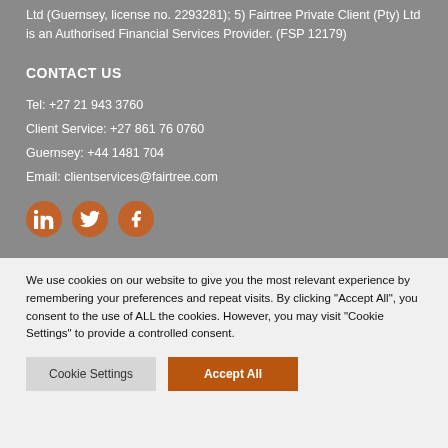Ltd (Guernsey, license no. 2293281); 5) Fairtree Private Client (Pty) Ltd is an Authorised Financial Services Provider. (FSP 12179)
CONTACT US
Tel: +27 21 943 3760
Client Service: +27 861 76 0760
Guernsey: +44 1481 704
Email: clientservices@fairtree.com
[Figure (other): Social media icons: LinkedIn, Twitter, Facebook — circular orange buttons]
We use cookies on our website to give you the most relevant experience by remembering your preferences and repeat visits. By clicking "Accept All", you consent to the use of ALL the cookies. However, you may visit "Cookie Settings" to provide a controlled consent.
Cookie Settings | Accept All